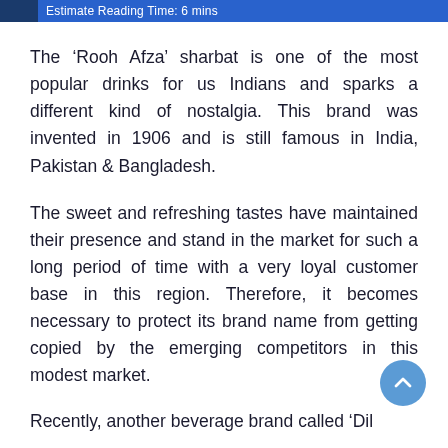Estimate Reading Time: 6 mins
The ‘Rooh Afza’ sharbat is one of the most popular drinks for us Indians and sparks a different kind of nostalgia. This brand was invented in 1906 and is still famous in India, Pakistan & Bangladesh.
The sweet and refreshing tastes have maintained their presence and stand in the market for such a long period of time with a very loyal customer base in this region. Therefore, it becomes necessary to protect its brand name from getting copied by the emerging competitors in this modest market.
Recently, another beverage brand called ‘Dil